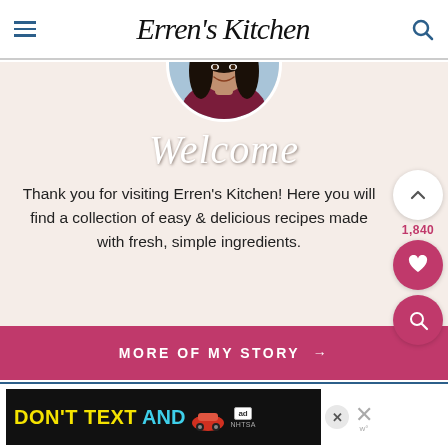Erren's Kitchen
[Figure (photo): Circular portrait photo of a woman with long dark hair, smiling, wearing a dark red/maroon top, with a blurred kitchen background.]
Welcome
Thank you for visiting Erren's Kitchen! Here you will find a collection of easy & delicious recipes made with fresh, simple ingredients.
MORE OF MY STORY →
[Figure (screenshot): Advertisement banner: DON'T TEXT AND [car emoji] with NHTSA ad label and close buttons.]